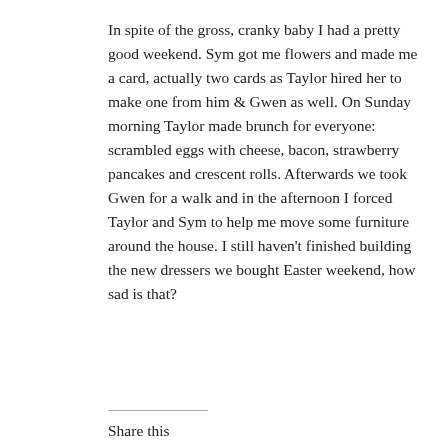In spite of the gross, cranky baby I had a pretty good weekend. Sym got me flowers and made me a card, actually two cards as Taylor hired her to make one from him & Gwen as well. On Sunday morning Taylor made brunch for everyone: scrambled eggs with cheese, bacon, strawberry pancakes and crescent rolls. Afterwards we took Gwen for a walk and in the afternoon I forced Taylor and Sym to help me move some furniture around the house. I still haven't finished building the new dressers we bought Easter weekend, how sad is that?